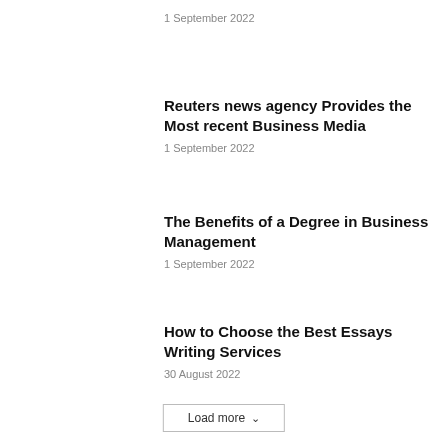1 September 2022
Reuters news agency Provides the Most recent Business Media
1 September 2022
The Benefits of a Degree in Business Management
1 September 2022
How to Choose the Best Essays Writing Services
30 August 2022
Load more